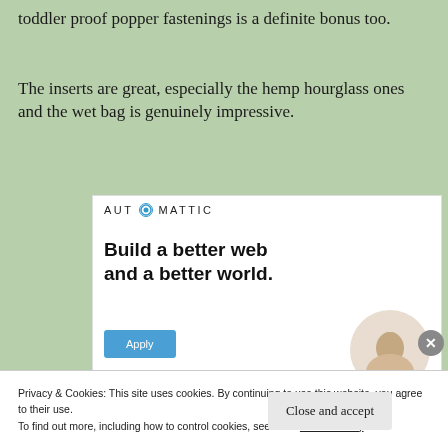toddler proof popper fastenings is a definite bonus too.
The inserts are great, especially the hemp hourglass ones and the wet bag is genuinely impressive.
[Figure (illustration): Automattic advertisement: logo at top, headline 'Build a better web and a better world.', Apply button in blue, circular photo of a person on the right.]
Privacy & Cookies: This site uses cookies. By continuing to use this website, you agree to their use.
To find out more, including how to control cookies, see here: Cookie Policy
Close and accept